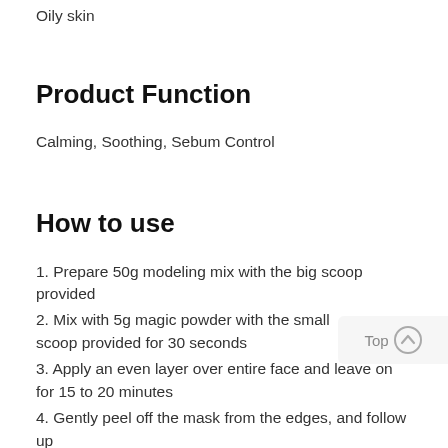Oily skin
Product Function
Calming, Soothing, Sebum Control
How to use
1. Prepare 50g modeling mix with the big scoop provided
2. Mix with 5g magic powder with the small scoop provided for 30 seconds
3. Apply an even layer over entire face and leave on for 15 to 20 minutes
4. Gently peel off the mask from the edges, and follow up